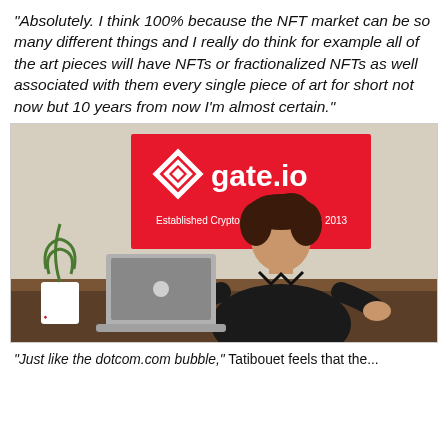“Absolutely. I think 100% because the NFT market can be so many different things and I really do think for example all of the art pieces will have NFTs or fractionalized NFTs as well associated with them every single piece of art for short not now but 10 years from now I’m almost certain.”
[Figure (photo): A woman sitting at a desk with a laptop, in front of a red gate.io banner reading 'gate.io - Established Crypto Exchange Since 2013']
“Just like the dotcom.com bubble,” Tatibouet feels that the...